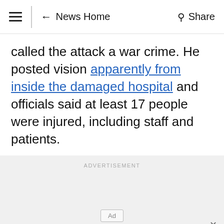≡ ← News Home  Share
called the attack a war crime. He posted vision apparently from inside the damaged hospital and officials said at least 17 people were injured, including staff and patients.
[Figure (other): Advertisement section with two Ad placeholder boxes and a close (×) button]